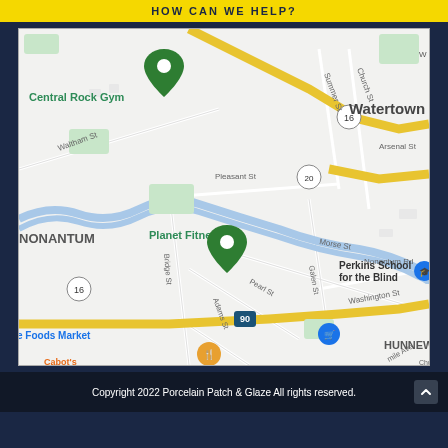HOW CAN WE HELP?
[Figure (map): Google Maps view of Watertown/Newton area in Massachusetts, showing streets including Waltham St, Pleasant St, Morse St, Bridge St, Adams St, Pearl St, Summer St, Church St, Nonantum Rd, Arsenal St, Washington St. Landmarks include Central Rock Gym (green pin), Planet Fitness (green pin), Perkins School for the Blind, Whole Foods Market, Cabot's. Highways/routes visible: Route 16, Route 20, I-90. Neighborhoods: NONANTUM, HUNNEWELL, Watertown.]
Copyright 2022 Porcelain Patch & Glaze All rights reserved.